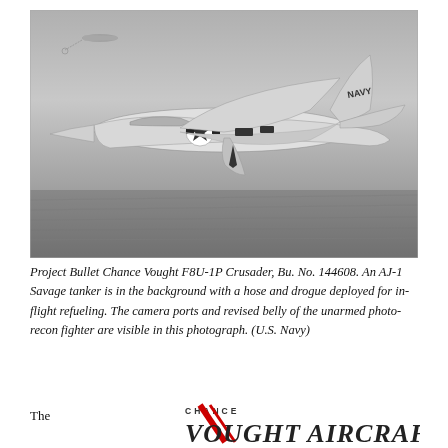[Figure (photo): Black and white aerial photograph of a Chance Vought F8U-1P Crusader (Bu. No. 144608) in flight, with 'NAVY' markings and a star insignia visible. An AJ-1 Savage tanker with deployed hose and drogue is visible in the background.]
Project Bullet Chance Vought F8U-1P Crusader, Bu. No. 144608. An AJ-1 Savage tanker is in the background with a hose and drogue deployed for in-flight refueling. The camera ports and revised belly of the unarmed photo-recon fighter are visible in this photograph. (U.S. Navy)
The
[Figure (logo): Chance Vought Aircraft logo with stylized text 'CHANCE VOUGHT AIRCRAFT' with a red diagonal design element.]